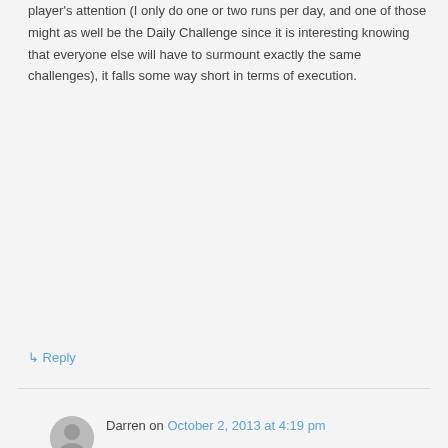player's attention (I only do one or two runs per day, and one of those might as well be the Daily Challenge since it is interesting knowing that everyone else will have to surmount exactly the same challenges), it falls some way short in terms of execution.
↳ Reply
Darren on October 2, 2013 at 4:19 pm
This reminds me of the inverse of one of the big complaints of the Devil May Cry reboot (which I recommend, by the way). The complaint was that it was too easy to get high ratings for combos, making the in-game scoring easier and less meaningful.